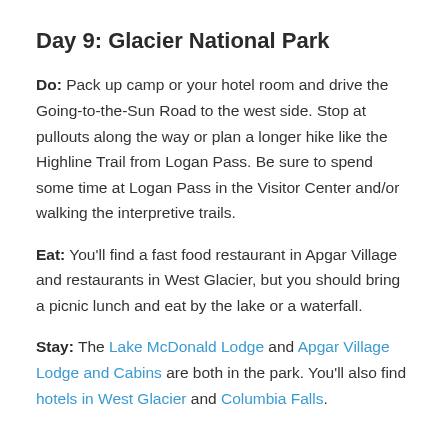Day 9: Glacier National Park
Do: Pack up camp or your hotel room and drive the Going-to-the-Sun Road to the west side. Stop at pullouts along the way or plan a longer hike like the Highline Trail from Logan Pass. Be sure to spend some time at Logan Pass in the Visitor Center and/or walking the interpretive trails.
Eat: You'll find a fast food restaurant in Apgar Village and restaurants in West Glacier, but you should bring a picnic lunch and eat by the lake or a waterfall.
Stay: The Lake McDonald Lodge and Apgar Village Lodge and Cabins are both in the park. You'll also find hotels in West Glacier and Columbia Falls.